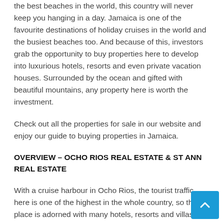the best beaches in the world, this country will never keep you hanging in a day. Jamaica is one of the favourite destinations of holiday cruises in the world and the busiest beaches too. And because of this, investors grab the opportunity to buy properties here to develop into luxurious hotels, resorts and even private vacation houses. Surrounded by the ocean and gifted with beautiful mountains, any property here is worth the investment.
Check out all the properties for sale in our website and enjoy our guide to buying properties in Jamaica.
OVERVIEW – OCHO RIOS REAL ESTATE & ST ANN REAL ESTATE
With a cruise harbour in Ocho Rios, the tourist traffic here is one of the highest in the whole country, so the place is adorned with many hotels, resorts and villas.